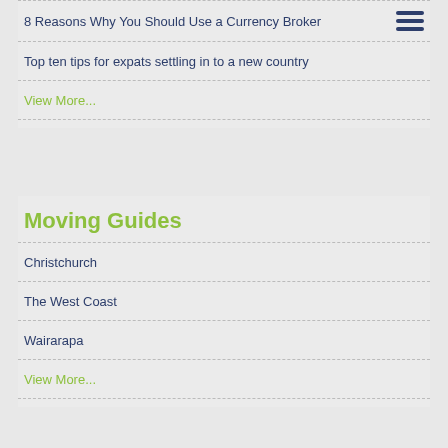8 Reasons Why You Should Use a Currency Broker
Top ten tips for expats settling in to a new country
View More...
Moving Guides
Christchurch
The West Coast
Wairarapa
View More...